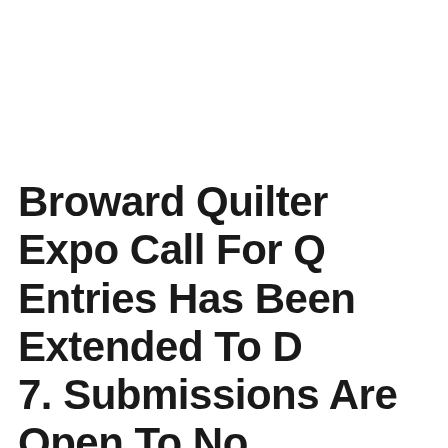Broward Quilter Expo Call For Quilt Entries Has Been Extended To December 7. Submissions Are Open To Non-Members.
Posted on November 18th, 2018 • Category: Art, Art in Public Spaces, Art Shows, Guilds, Leagues, Broward Quilt Expo, Coral Springs Quilt Guild, East Sunrise, Mixed Media, Quilting in the Pines Guild, South Florida Modern Quilt Guild, Sunrise Quilt Guild, Stranahan House Museum, Weaving/Fabric Art, West Broward Quilt Guild
The Broward Quilt Expo announces a Call For Entries for the Broward Airing of The Quilts. Every two years, volunteers from the East Sunrise, Southern Stars Quilt Guild, Coral Springs Quilt Guild, South Florida...